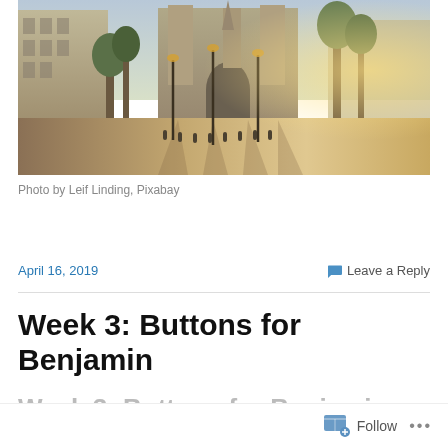[Figure (photo): Wide-angle photo of a European cathedral plaza (likely Notre-Dame de Paris) with ornate Gothic facade, street lamps, tree-lined square with light rays casting long shadows on cobblestones. Morning or evening warm light.]
Photo by Leif Linding, Pixabay
April 16, 2019
Leave a Reply
Week 3: Buttons for Benjamin
Week 3: Buttons for Benjamin